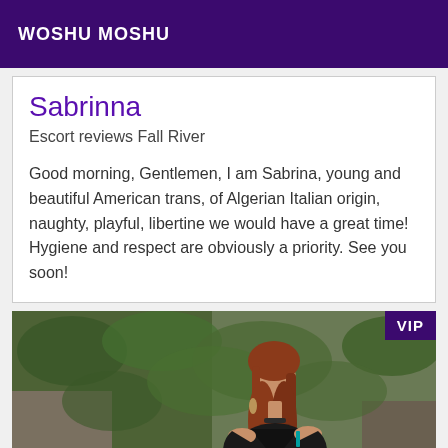WOSHU MOSHU
Sabrinna
Escort reviews Fall River
Good morning, Gentlemen, I am Sabrina, young and beautiful American trans, of Algerian Italian origin, naughty, playful, libertine we would have a great time! Hygiene and respect are obviously a priority. See you soon!
[Figure (photo): Woman with long red-brown hair wearing a black leather crop top, seated outdoors against an ivy-covered wall background. VIP badge in upper right corner.]